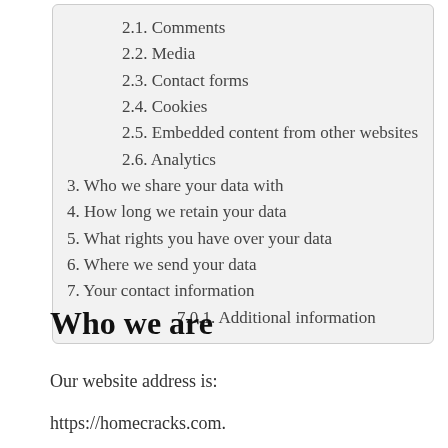2.1. Comments
2.2. Media
2.3. Contact forms
2.4. Cookies
2.5. Embedded content from other websites
2.6. Analytics
3. Who we share your data with
4. How long we retain your data
5. What rights you have over your data
6. Where we send your data
7. Your contact information
7.0.1. Additional information
Who we are
Our website address is:
https://homecracks.com.